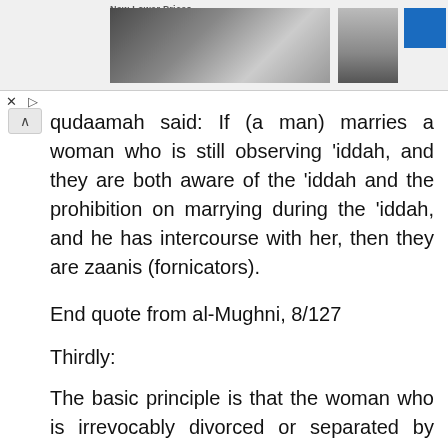[Figure (photo): Advertisement banner at top of page showing a couple in formal wear, smaller image of a person, and a blue rectangle. Text reads 'New Lower Prices'.]
qudaamah said: If (a man) marries a woman who is still observing ‘iddah, and they are both aware of the ‘iddah and the prohibition on marrying during the ‘iddah, and he has intercourse with her, then they are zaanis (fornicators).
End quote from al-Mughni, 8/127
Thirdly:
The basic principle is that the woman who is irrevocably divorced or separated by means of khula’ should observe ‘iddah in her family’s house. If that is not possible, then she may spend the ‘iddah period